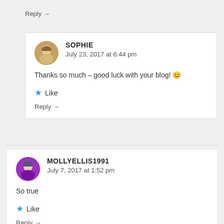Reply →
SOPHIE
July 23, 2017 at 6:44 pm
Thanks so much – good luck with your blog! 😊
★ Like
Reply →
MOLLYELLIS1991
July 7, 2017 at 1:52 pm
So true
★ Like
Reply →